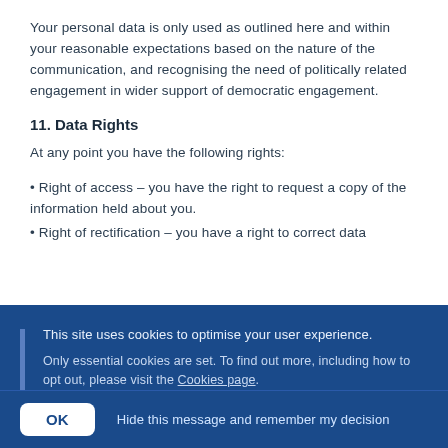Your personal data is only used as outlined here and within your reasonable expectations based on the nature of the communication, and recognising the need of politically related engagement in wider support of democratic engagement.
11. Data Rights
At any point you have the following rights:
• Right of access – you have the right to request a copy of the information held about you.
• Right of rectification – you have a right to correct data
This site uses cookies to optimise your user experience.

Only essential cookies are set. To find out more, including how to opt out, please visit the Cookies page.
OK   Hide this message and remember my decision